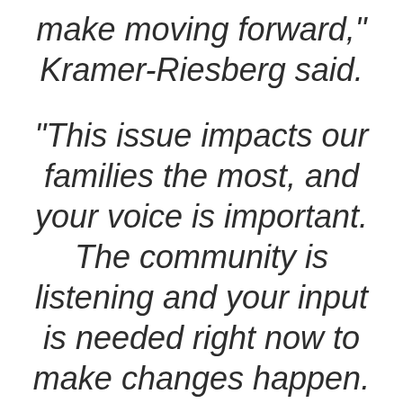make moving forward," Kramer-Riesberg said.
"This issue impacts our families the most, and your voice is important. The community is listening and your input is needed right now to make changes happen. If you can, remind your friends, family,